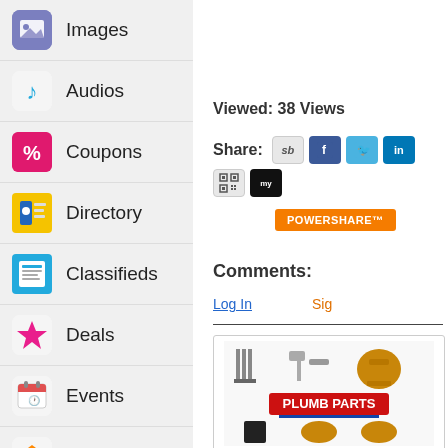Images
Audios
Coupons
Directory
Classifieds
Deals
Events
Store
Viewed: 38 Views
Share:
POWERSHARE™
Comments:
Log In
Sig
[Figure (other): Plumb Parts product advertisement image showing plumbing fixtures and parts with red PLUMB PARTS text]